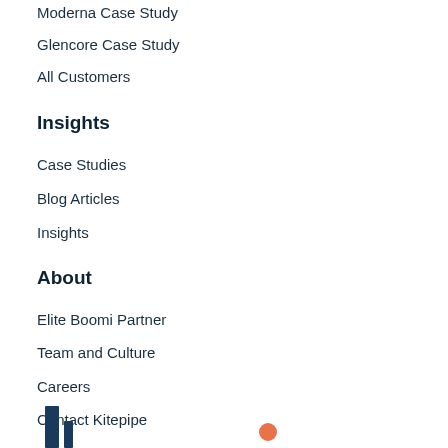Moderna Case Study
Glencore Case Study
All Customers
Insights
Case Studies
Blog Articles
Insights
About
Elite Boomi Partner
Team and Culture
Careers
Contact Kitepipe
[Figure (illustration): Partial view of Kitepipe logo mark at bottom left with decorative orange circle dot element at bottom right]